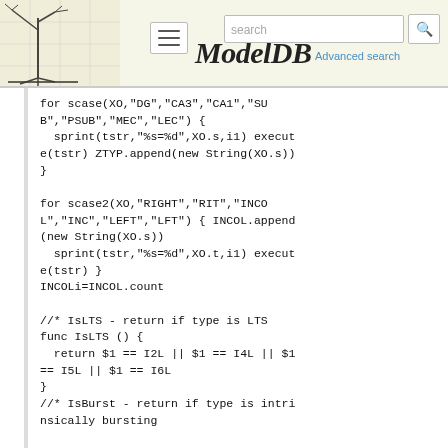[Figure (screenshot): ModelDB website header with logo (tree diagram), hamburger menu button, search box, search button, Advanced search link, and ModelDB italic title]
for scase(XO,"DG","CA3","CA1","SUB","PSUB","MEC","LEC") {
  sprint(tstr,"%s=%d",XO.s,i1) execute(tstr) ZTYP.append(new String(XO.s))
}

for scase2(XO,"RIGHT","RIT","INCOL","INC","LEFT","LFT") { INCOL.append(new String(XO.s))
  sprint(tstr,"%s=%d",XO.t,i1) execute(tstr) }
INCOLi=INCOL.count

//* IsLTS - return if type is LTS
func IsLTS () {
  return $1 == I2L || $1 == I4L || $1 == I5L || $1 == I6L
}
//* IsBurst - return if type is intrinsically bursting